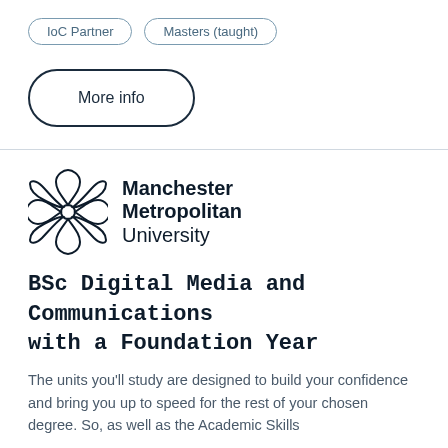IoC Partner
Masters (taught)
More info
[Figure (logo): Manchester Metropolitan University logo – stylized flower/leaf emblem in black outline with bold text 'Manchester Metropolitan University' to the right]
BSc Digital Media and Communications with a Foundation Year
The units you'll study are designed to build your confidence and bring you up to speed for the rest of your chosen degree. So, as well as the Academic Skills